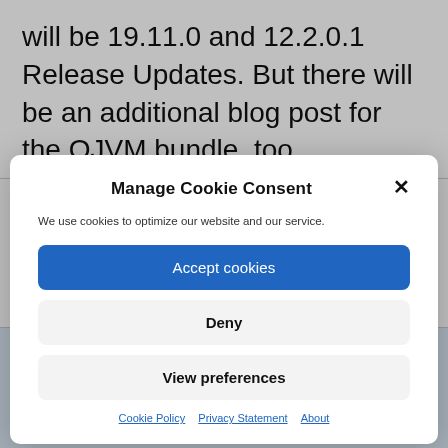will be 19.11.0 and 12.2.0.1 Release Updates. But there will be an additional blog post for the OJVM bundle, too.
Manage Cookie Consent
We use cookies to optimize our website and our service.
Accept cookies
Deny
View preferences
Cookie Policy  Privacy Statement  About
Close and accept
home with OUI...